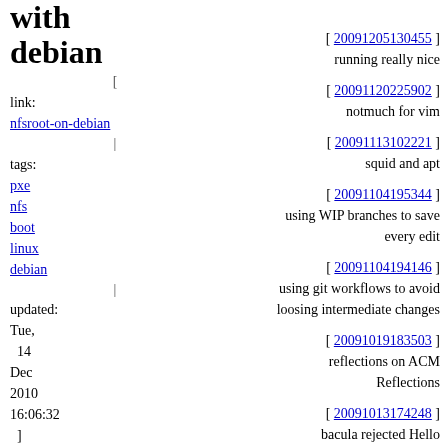with debian
[ link: nfsroot-on-debian | tags: pxe nfs boot linux debian | updated: Tue, 14 Dec 2010 16:06:32 ]
[ 20091205130455 ] running really nice
[ 20091120225902 ] notmuch for vim
[ 20091113102221 ] squid and apt
[ 20091104195344 ] using WIP branches to save every edit
[ 20091104194146 ] using git workflows to avoid loosing intermediate changes
[ 20091019183503 ] reflections on ACM Reflections
[ 20091013174248 ] bacula rejected Hello command
[ 20091007235046 ] pimping out git log
[ 20091002094400 ]
I have two boxes (i386